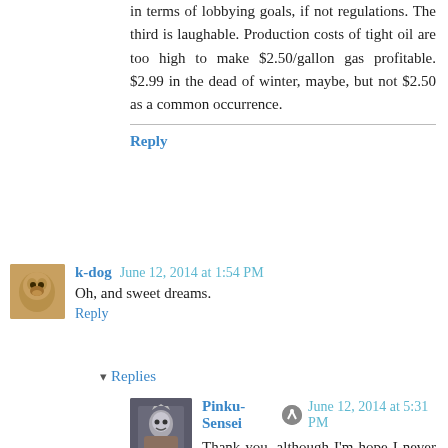in terms of lobbying goals, if not regulations. The third is laughable. Production costs of tight oil are too high to make $2.50/gallon gas profitable. $2.99 in the dead of winter, maybe, but not $2.50 as a common occurrence.
Reply
k-dog June 12, 2014 at 1:54 PM
Oh, and sweet dreams.
Reply
▾ Replies
Pinku-Sensei June 12, 2014 at 5:31 PM
Thank you, although I'm hope I never have to take advantage of suspended animation. My two experiences under general anesthesia weren't bad, but they both stopped my bowel movements